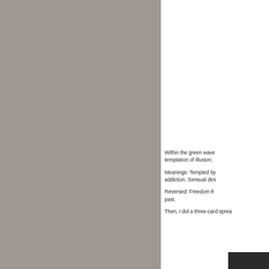[Figure (photo): Large gray/taupe colored rectangular panel occupying the left portion of the page, likely a tarot card image]
Within the green wave... temptation of illusion;

Meanings: Tempted by... addiction. Sensual des...

Reversed: Freedom fr... past.

Then, I did a three-card sprea...